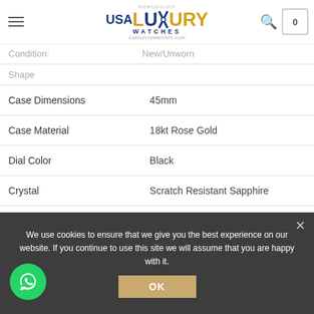[Figure (logo): USA Luxury Watches logo with blue and gold text]
| Attribute | Value |
| --- | --- |
| Condition: | New/Unworn |
| Shape |  |
| Case Dimensions | 45mm |
| Case Material | 18kt Rose Gold |
| Dial Color | Black |
| Crystal | Scratch Resistant Sapphire |
| Bezel | Fixed |
| Screw-in Crown | No |
| Water Resistance | 50m/150ft |
| Case Back | Transparent |
We use cookies to ensure that we give you the best experience on our website. If you continue to use this site we will assume that you are happy with it.